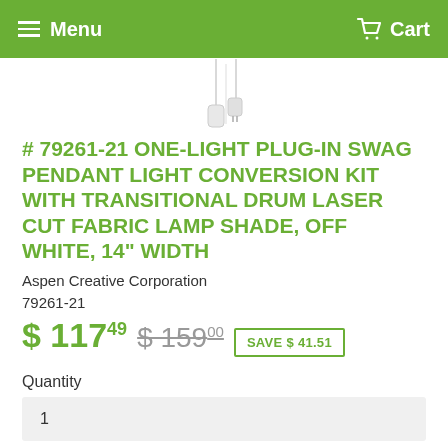Menu  Cart
[Figure (photo): Product image showing a white pendant light swag kit with lamp shade cord hanging against white background]
# 79261-21 ONE-LIGHT PLUG-IN SWAG PENDANT LIGHT CONVERSION KIT WITH TRANSITIONAL DRUM LASER CUT FABRIC LAMP SHADE, OFF WHITE, 14" WIDTH
Aspen Creative Corporation
79261-21
$ 117.49  $ 159.00  SAVE $ 41.51
Quantity
1